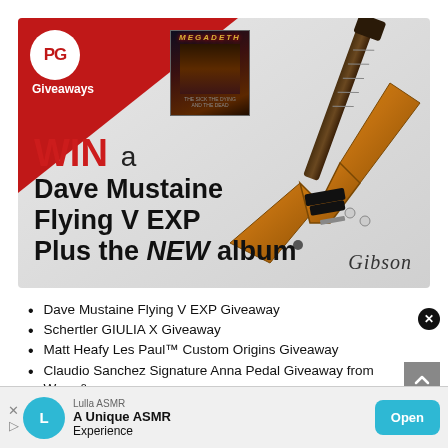[Figure (infographic): PG Giveaways promotional banner featuring a Dave Mustaine Gibson Flying V EXP guitar and a Megadeth album cover on a red and grey gradient background]
WIN a Dave Mustaine Flying V EXP Plus the NEW album
Dave Mustaine Flying V EXP Giveaway
Schertler GIULIA X Giveaway
Matt Heafy Les Paul™ Custom Origins Giveaway
Claudio Sanchez Signature Anna Pedal Giveaway from Wren & Cuff
Sum… mix!
[Figure (infographic): Lulla ASMR advertisement banner with teal icon, text 'A Unique ASMR Experience' and Open button]